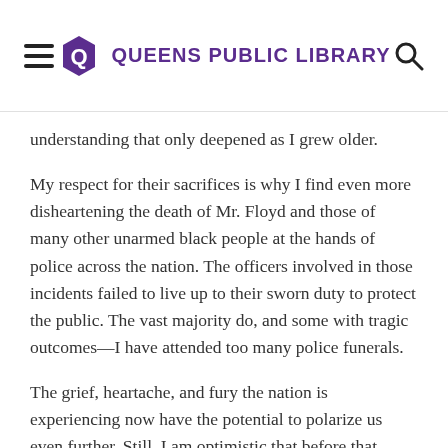Queens Public Library
understanding that only deepened as I grew older.
My respect for their sacrifices is why I find even more disheartening the death of Mr. Floyd and those of many other unarmed black people at the hands of police across the nation. The officers involved in those incidents failed to live up to their sworn duty to protect the public. The vast majority do, and some with tragic outcomes—I have attended too many police funerals.
The grief, heartache, and fury the nation is experiencing now have the potential to polarize us even further. Still, I am optimistic that before that happens, we will come together, and we will do better. It will not be easy, but I cannot imagine what the future holds for our children and our grandchildren if we fail